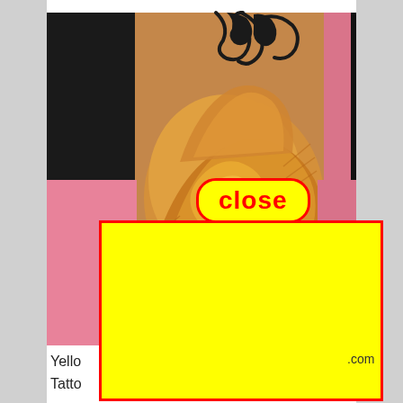[Figure (photo): Close-up photograph of a yellow-orange rose tattoo on skin, with black tribal design visible at top. Pink background visible on sides. A yellow rectangle with red border overlays the lower portion. A 'close' button with red border and red text on yellow background is overlaid on the image.]
Yello
Tatto